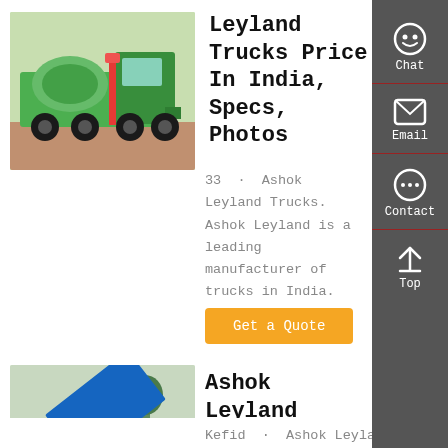[Figure (photo): Green Ashok Leyland truck with red pole/cone, parked outdoors]
Leyland Trucks Price In India, Specs, Photos
33 · Ashok Leyland Trucks. Ashok Leyland is a leading manufacturer of trucks in India.
Get a Quote
[Figure (photo): Blue Ashok Leyland dump truck with raised bed, outdoors]
Ashok Leyland Trucks In India » Prices, Images, Specs
Kefid · Ashok Leyland